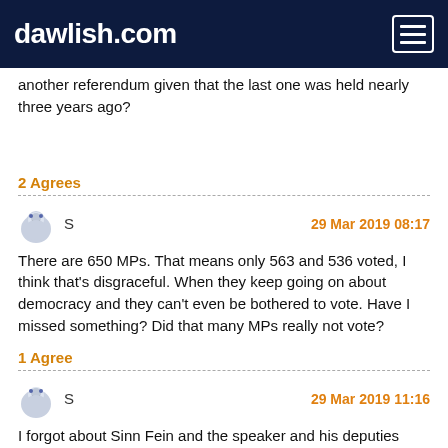dawlish.com
another referendum given that the last one was held nearly three years ago?
2 Agrees
S  29 Mar 2019 08:17
There are 650 MPs. That means only 563 and 536 voted, I think that's disgraceful. When they keep going on about democracy and they can't even be bothered to vote. Have I missed something? Did that many MPs really not vote?
1 Agree
S  29 Mar 2019 11:16
I forgot about Sinn Fein and the speaker and his deputies who don't vote, that means there should 639 voting MPs